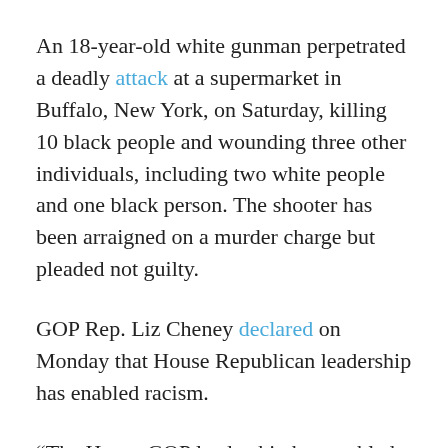An 18-year-old white gunman perpetrated a deadly attack at a supermarket in Buffalo, New York, on Saturday, killing 10 black people and wounding three other individuals, including two white people and one black person. The shooter has been arraigned on a murder charge but pleaded not guilty.
GOP Rep. Liz Cheney declared on Monday that House Republican leadership has enabled racism.
“The House GOP leadership has enabled white nationalism, white supremacy, and anti-semitism. History has taught us that what begins with words ends in far worse. @GOP leaders must renounce and reject these views and those who hold them.”
Last year, Cheney was ousted from her post as House...